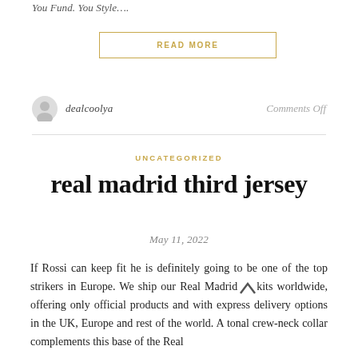You Fund. You Style....
READ MORE
dealcoolya
Comments Off
UNCATEGORIZED
real madrid third jersey
May 11, 2022
If Rossi can keep fit he is definitely going to be one of the top strikers in Europe. We ship our Real Madrid kits worldwide, offering only official products and with express delivery options in the UK, Europe and rest of the world. A tonal crew-neck collar complements this base of the Real